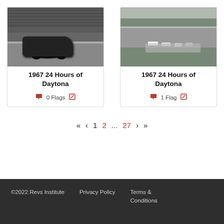[Figure (photo): Black and white photo of a race car (number 24) on track at 1967 24 Hours of Daytona, with crowded grandstands in background]
1967 24 Hours of Daytona
0 Flags
[Figure (photo): Black and white aerial/wide photo of race cars on track at 1967 24 Hours of Daytona, showing the banked curve and infield]
1967 24 Hours of Daytona
1 Flag
« < 1 2 ... 27 > »
©2022 Revs Institute   Privacy Policy   Terms & Conditions